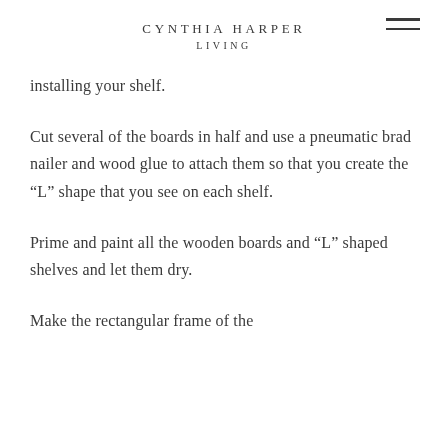CYNTHIA HARPER LIVING
installing your shelf.
Cut several of the boards in half and use a pneumatic brad nailer and wood glue to attach them so that you create the “L” shape that you see on each shelf.
Prime and paint all the wooden boards and “L” shaped shelves and let them dry.
Make the rectangular frame of the